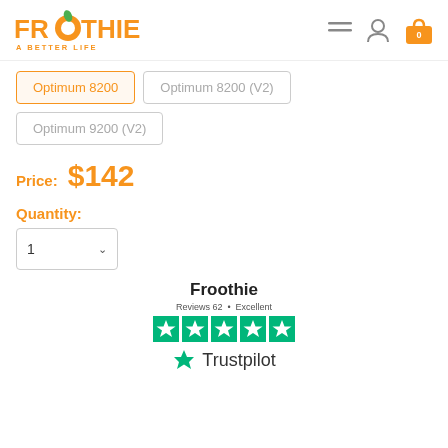[Figure (logo): Froothie orange logo with text FROOTHIE and tagline A BETTER LIFE]
Optimum 8200 | Optimum 8200 (V2) | Optimum 9200 (V2)
Price: $142
Quantity:
1
[Figure (logo): Froothie Trustpilot widget showing Reviews 62 Excellent with 5 green stars and Trustpilot logo]